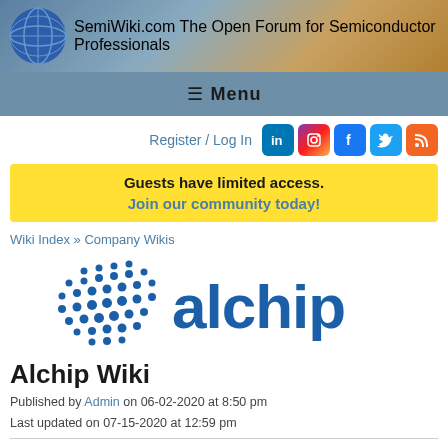SemiWiki.com — The Open Forum for Semiconductor Professionals
≡ Menu
Register / Log In
Guests have limited access. Join our community today!
Wiki Index » Company Wikis
[Figure (logo): Alchip company logo with dot-grid pattern and 'alchip' text in blue]
Alchip Wiki
Published by Admin on 06-02-2020 at 8:50 pm
Last updated on 07-15-2020 at 12:59 pm